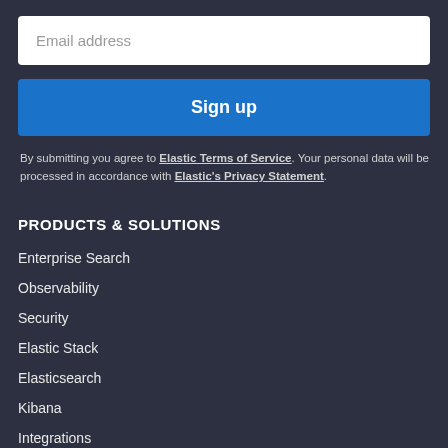Email address
Sign up
By submitting you agree to Elastic Terms of Service. Your personal data will be processed in accordance with Elastic's Privacy Statement.
PRODUCTS & SOLUTIONS
Enterprise Search
Observability
Security
Elastic Stack
Elasticsearch
Kibana
Integrations